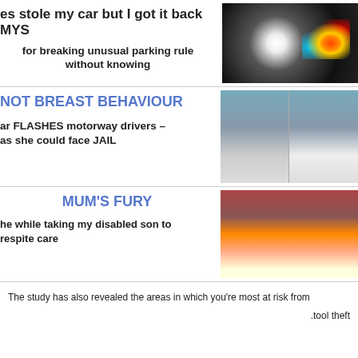es stole my car but I got it back MYS
for breaking unusual parking rule without knowing
[Figure (photo): Car headlight at night with bokeh lights]
NOT BREAST BEHAVIOUR
ar FLASHES motorway drivers – as she could face JAIL
[Figure (photo): Two side-by-side photos of a woman, one clothed and one flashing]
MUM'S FURY
he while taking my disabled son to respite care
[Figure (photo): Mother and disabled son laughing together]
The study has also revealed the areas in which you're most at risk from .tool theft